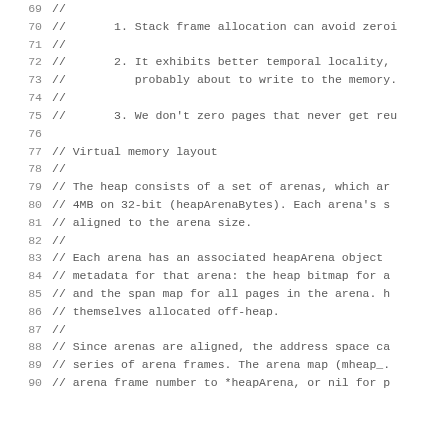69  //
70  //       1. Stack frame allocation can avoid zeroi
71  //
72  //       2. It exhibits better temporal locality,
73  //            probably about to write to the memory.
74  //
75  //       3. We don't zero pages that never get reu
76
77  // Virtual memory layout
78  //
79  // The heap consists of a set of arenas, which ar
80  // 4MB on 32-bit (heapArenaBytes). Each arena's s
81  // aligned to the arena size.
82  //
83  // Each arena has an associated heapArena object
84  // metadata for that arena: the heap bitmap for a
85  // and the span map for all pages in the arena. h
86  // themselves allocated off-heap.
87  //
88  // Since arenas are aligned, the address space ca
89  // series of arena frames. The arena map (mheap_.
90  // arena frame number to *heapArena, or nil for p